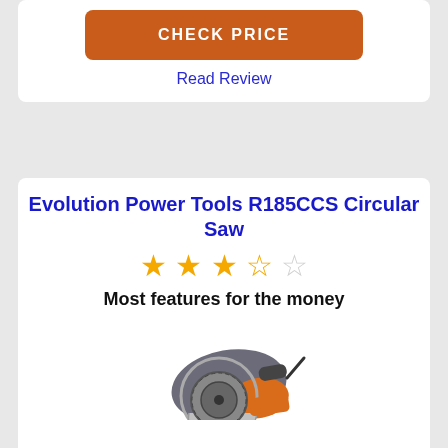[Figure (other): Orange CHECK PRICE button at top of page (partial card from previous product)]
Read Review
Evolution Power Tools R185CCS Circular Saw
[Figure (other): Star rating: 3.5 out of 5 stars (3 full stars, 1 half star, 1 empty star)]
Most features for the money
[Figure (photo): Photo of Evolution Power Tools R185CCS Circular Saw — grey and orange circular saw viewed from above-side angle]
[Figure (other): Orange CHECK PRICE button]
Read Review